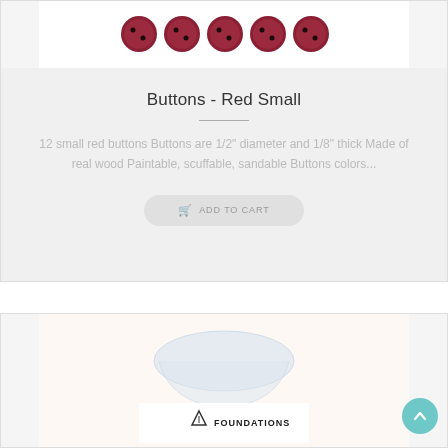[Figure (photo): Red small wooden buttons arranged on a white card backing, top portion of product card]
Buttons - Red Small
12 small red buttons Buttons are 1/2" diameter and 1/8" thick Made of real wood Paintable, scuffable, sandable Buttons colors...
ADD TO CART
[Figure (photo): Foundations brand product packaging with plastic bag on light beige background, partially visible at bottom of page]